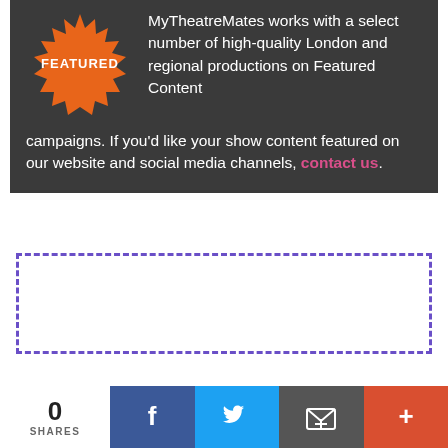MyTheatreMates works with a select number of high-quality London and regional productions on Featured Content campaigns. If you'd like your show content featured on our website and social media channels, contact us.
[Figure (illustration): Orange starburst badge with the word FEATURED in white text]
[Figure (other): Empty dashed purple/violet bordered rectangle placeholder]
0 SHARES | Facebook | Twitter | Email | More